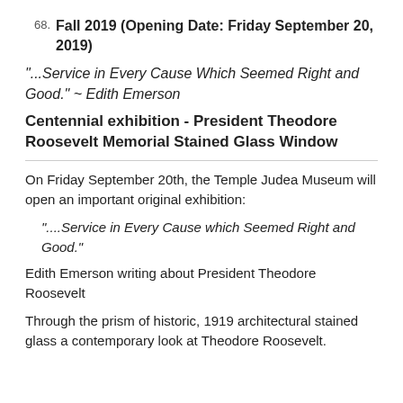68. Fall 2019 (Opening Date: Friday September 20, 2019)
"...Service in Every Cause Which Seemed Right and Good." ~ Edith Emerson
Centennial exhibition - President Theodore Roosevelt Memorial Stained Glass Window
On Friday September 20th, the Temple Judea Museum will open an important original exhibition:
"....Service in Every Cause which Seemed Right and Good."
Edith Emerson writing about President Theodore Roosevelt
Through the prism of historic, 1919 architectural stained glass a contemporary look at Theodore Roosevelt.